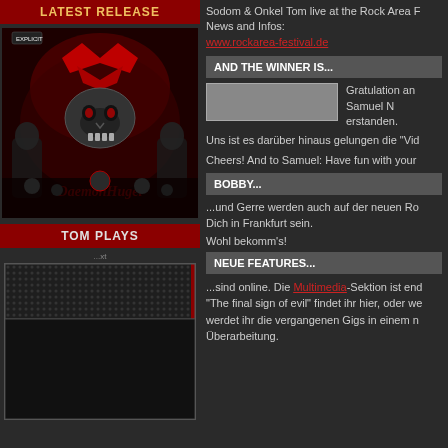LATEST RELEASE
[Figure (illustration): Sodom album cover - dark red and black themed metal artwork with skull and band logo]
TOM PLAYS
[Figure (screenshot): Dark textured audio player widget area]
Sodom & Onkel Tom live at the Rock Area F
News and Infos:
www.rockarea-festival.de
AND THE WINNER IS...
Gratulation an Samuel N erstanden.
Uns ist es darüber hinaus gelungen die "Vid
Cheers! And to Samuel: Have fun with your
BOBBY...
...und Gerre werden auch auf der neuen Ro Dich in Frankfurt sein.

Wohl bekomm's!
NEUE FEATURES...
...sind online. Die Multimedia-Sektion ist end "The final sign of evil" findet ihr hier, oder we werdet ihr die vergangenen Gigs in einem n Überarbeitung.